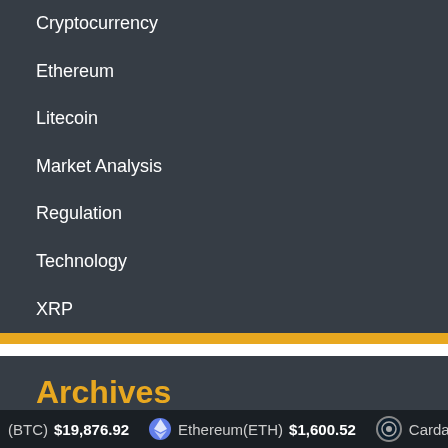Cryptocurrency
Ethereum
Litecoin
Market Analysis
Regulation
Technology
XRP
Archives
September 2022
August 2022
(BTC) $19,876.92   Ethereum(ETH) $1,600.52   Cardano(ADA)